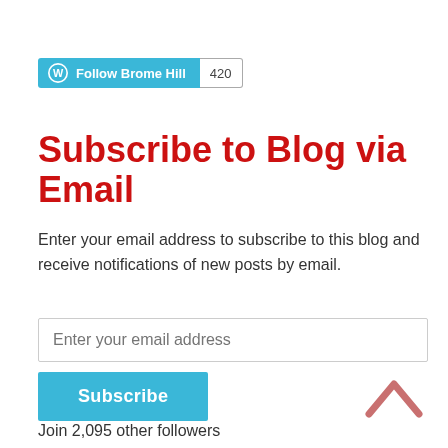[Figure (other): WordPress Follow button with 'Follow Brome Hill' text and a count badge showing 420]
Subscribe to Blog via Email
Enter your email address to subscribe to this blog and receive notifications of new posts by email.
Enter your email address
Subscribe
Join 2,095 other followers